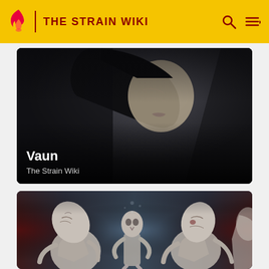THE STRAIN WIKI
[Figure (photo): Dark hooded figure (Vaun) with pale skin, close-up showing chin area, from The Strain. Text overlay: 'Vaun' and 'The Strain Wiki']
[Figure (illustration): Fantasy/horror illustration showing multiple pale, gaunt humanoid creatures (the Ancients/Strigoi) in a misty blue-lit scene, seated and standing poses]